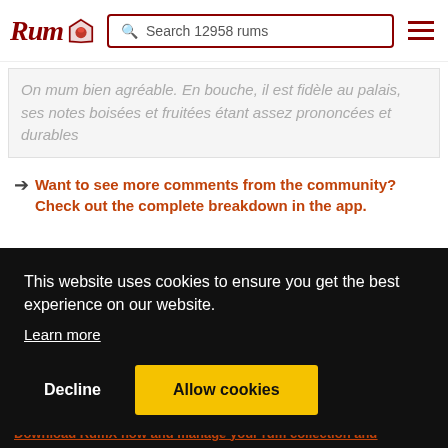Rum X — Search 12958 rums
On mum bien agréable. En bouche, il est fidèle au palais, ses notes boisées et fruitées étant assez prononcées et durables
→ Want to see more comments from the community? Check out the complete breakdown in the app.
This website uses cookies to ensure you get the best experience on our website. Learn more
Decline   Allow cookies
Do you own a bottle or sample of this rum? Download RumX now and manage your rum collection and